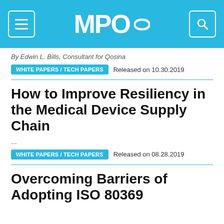MPO
By Edwin L. Bills, Consultant for Qosina
WHITE PAPERS / TECH PAPERS   Released on 10.30.2019
How to Improve Resiliency in the Medical Device Supply Chain
...
WHITE PAPERS / TECH PAPERS   Released on 08.28.2019
Overcoming Barriers of Adopting ISO 80369